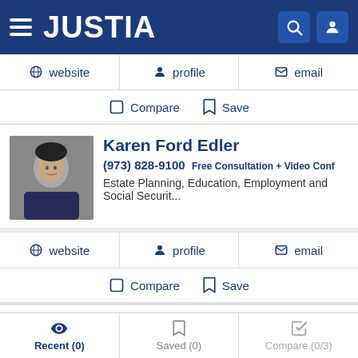JUSTIA
website | profile | email
Compare  Save
Karen Ford Edler
(973) 828-9100 Free Consultation + Video Conf
Estate Planning, Education, Employment and Social Securit...
website | profile | email
Compare  Save
David G. Hardin
Recent (0)  Saved (0)  Compare (0/3)